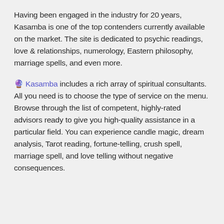Having been engaged in the industry for 20 years, Kasamba is one of the top contenders currently available on the market. The site is dedicated to psychic readings, love & relationships, numerology, Eastern philosophy, marriage spells, and even more.
🔮 Kasamba includes a rich array of spiritual consultants. All you need is to choose the type of service on the menu. Browse through the list of competent, highly-rated advisors ready to give you high-quality assistance in a particular field. You can experience candle magic, dream analysis, Tarot reading, fortune-telling, crush spell, marriage spell, and love telling without negative consequences.